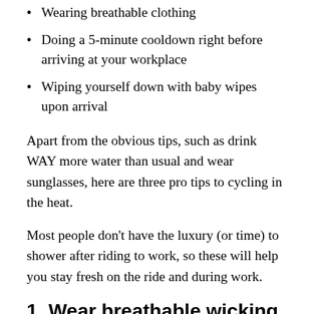Wearing breathable clothing
Doing a 5-minute cooldown right before arriving at your workplace
Wiping yourself down with baby wipes upon arrival
Apart from the obvious tips, such as drink WAY more water than usual and wear sunglasses, here are three pro tips to cycling in the heat.
Most people don't have the luxury (or time) to shower after riding to work, so these will help you stay fresh on the ride and during work.
1. Wear breathable wicking